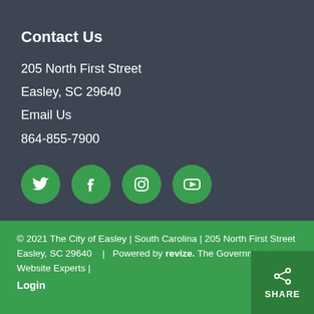Contact Us
205 North First Street
Easley, SC 29640
Email Us
864-855-7900
[Figure (illustration): Four green circular social media icons: Twitter, Facebook, Instagram, YouTube]
© 2021  The City of Easley  |  South Carolina  |  205 North First Street Easley, SC 29640  |  Powered by revize. The Government Website Experts  |  Login